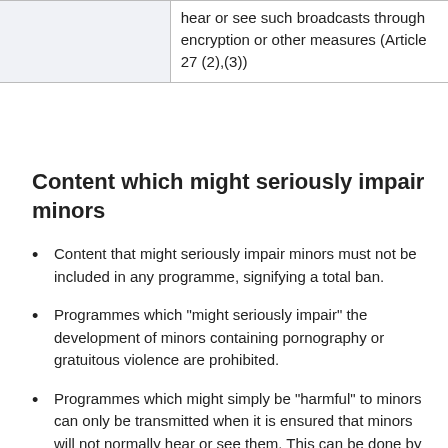|  | hear or see such broadcasts through encryption or other measures (Article 27 (2),(3)) |
Content which might seriously impair minors
Content that might seriously impair minors must not be included in any programme, signifying a total ban.
Programmes which "might seriously impair" the development of minors containing pornography or gratuitous violence are prohibited.
Programmes which might simply be "harmful" to minors can only be transmitted when it is ensured that minors will not normally hear or see them. This can be done by selecting the time of the broadcast or by any technical measure such as e.g. encryption